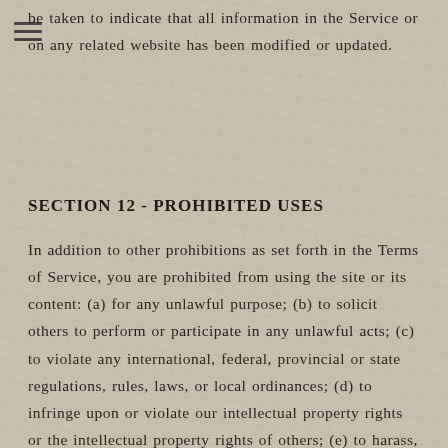be taken to indicate that all information in the Service or on any related website has been modified or updated.
SECTION 12 - PROHIBITED USES
In addition to other prohibitions as set forth in the Terms of Service, you are prohibited from using the site or its content: (a) for any unlawful purpose; (b) to solicit others to perform or participate in any unlawful acts; (c) to violate any international, federal, provincial or state regulations, rules, laws, or local ordinances; (d) to infringe upon or violate our intellectual property rights or the intellectual property rights of others; (e) to harass, abuse, insult, harm, defame, slander,